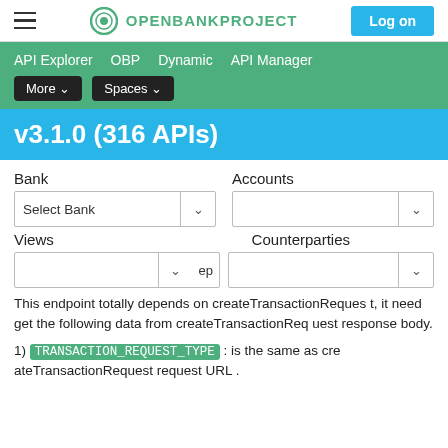OPENBANKPROJECT  Log on
API Explorer  OBP  Dynamic  API Manager  More  Spaces
v3.1.0 (316 APIs)
Bank  Accounts  Select Bank  Views  Counterparties
This endpoint totally depends on createTransactionRequest, it need get the following data from createTransactionRequest response body.
1) TRANSACTION_REQUEST_TYPE : is the same as createTransactionRequest request URL .